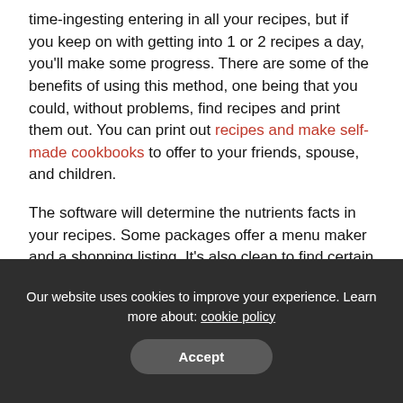time-ingesting entering in all your recipes, but if you keep on with getting into 1 or 2 recipes a day, you'll make some progress. There are some of the benefits of using this method, one being that you could, without problems, find recipes and print them out. You can print out recipes and make self-made cookbooks to offer to your friends, spouse, and children.
The software will determine the nutrients facts in your recipes. Some packages offer a menu maker and a shopping listing. It's also clean to find certain recipes with positive ingredients. For instance, if I actually have floor pork accessible, I can look for 'floor pork,' and this system will deliver up all recipes with floor beef. Also,
Our website uses cookies to improve your experience. Learn more about: cookie policy
Accept